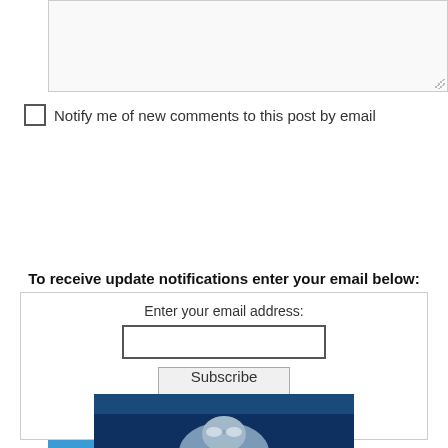[textarea]
Notify me of new comments to this post by email
SUBMIT
To receive update notifications enter your email below:
Enter your email address:
[email input]
[Subscribe button]
Delivered by FeedBurner
[Figure (photo): A person underwater or in a dark aquatic environment, with blue/teal water tones visible in the background]